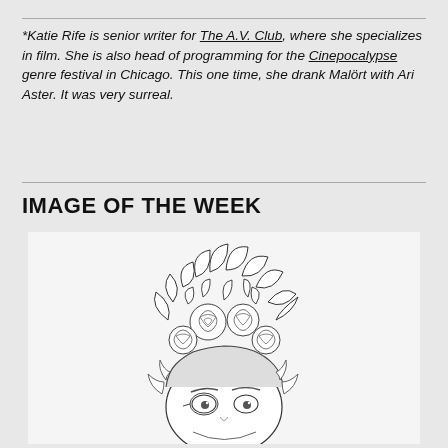*Katie Rife is senior writer for The A.V. Club, where she specializes in film. She is also head of programming for the Cinepocalypse genre festival in Chicago. This one time, she drank Malört with Ari Aster. It was very surreal.
IMAGE OF THE WEEK
[Figure (illustration): Line drawing illustration of a person's face with elaborate floral and leafy arrangement on top of their head, looking slightly upward with wide eyes.]